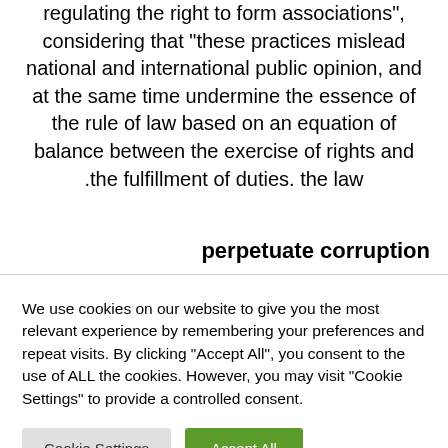regulating the right to form associations”, considering that “these practices mislead national and international public opinion, and at the same time undermine the essence of the rule of law based on an equation of balance between the exercise of rights and .the fulfillment of duties. the law
perpetuate corruption
We use cookies on our website to give you the most relevant experience by remembering your preferences and repeat visits. By clicking “Accept All”, you consent to the use of ALL the cookies. However, you may visit "Cookie Settings" to provide a controlled consent.